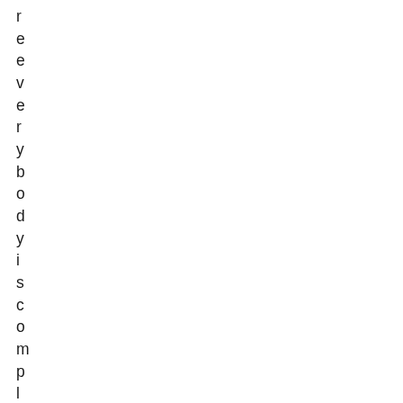reeverybodyiscompliant and the